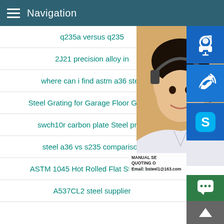Navigation
q235a versus q235
2J21 precision alloy in
where can i find astm a36 steel
Steel Grating for Garage Floor Grating
swch10r carbon plate Steel price
steel a36 vs s235 comparison
ASTM 1045 Hot Rolled Flat Steel Bar
A537CL2 steel supplier
MANUAL SE... QUOTING O... Email: bsteel1@163.com